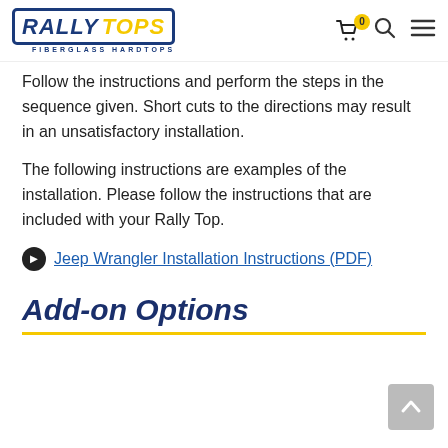Rally Tops — Fiberglass Hardtops
Follow the instructions and perform the steps in the sequence given. Short cuts to the directions may result in an unsatisfactory installation.
The following instructions are examples of the installation. Please follow the instructions that are included with your Rally Top.
Jeep Wrangler Installation Instructions (PDF)
Add-on Options